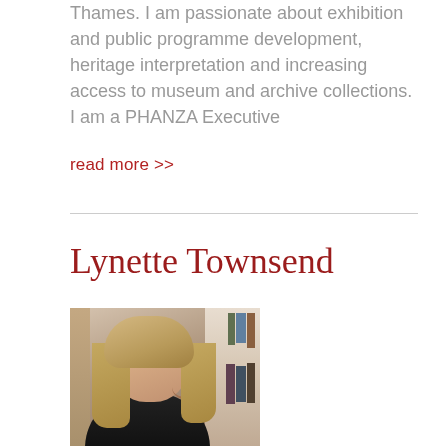Thames. I am passionate about exhibition and public programme development, heritage interpretation and increasing access to museum and archive collections. I am a PHANZA Executive
read more >>
Lynette Townsend
[Figure (photo): Portrait photo of Lynette Townsend, a woman with long blonde hair, smiling, seated in front of a bookshelf]